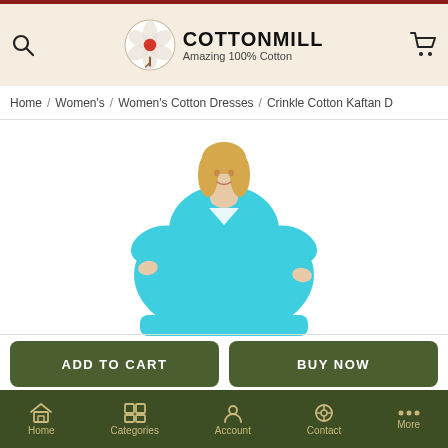COTTONMILL Amazing 100% Cotton
Home / Women's / Women's Cotton Dresses / Crinkle Cotton Kaftan D
[Figure (photo): Woman wearing a bright turquoise/aqua v-neck short-sleeve kaftan dress, blonde hair, white background]
ADD TO CART
BUY NOW
Home  Categories  Account  Contact  More